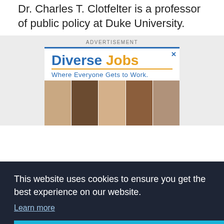Dr. Charles T. Clotfelter is a professor of public policy at Duke University.
[Figure (other): Advertisement banner for Diverse Jobs — 'Where Everyone Gets to Work.' with photos of five diverse professionals and a close button. Cookie consent overlay reading 'This website uses cookies to ensure you get the best experience on our website. Learn more' with a 'Got it!' button.]
First Half-Century of Brown v. Board of